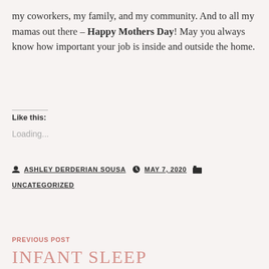my coworkers, my family, and my community. And to all my mamas out there – Happy Mothers Day! May you always know how important your job is inside and outside the home.
Like this:
Loading...
By ASHLEY DERDERIAN SOUSA  MAY 7, 2020  UNCATEGORIZED
PREVIOUS POST
INFANT SLEEP